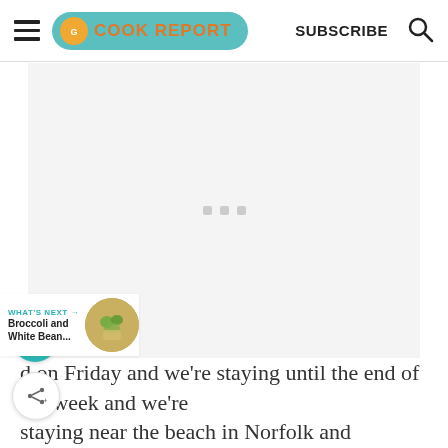THE COOK REPORT | SUBSCRIBE
[Figure (other): Advertisement placeholder area with three small gray squares centered on a light gray background]
[Figure (other): Teal heart/favorite button and white share button (social action buttons on left side)]
WHAT'S NEXT → Broccoli and White Bean...
d on Friday and we're staying until the end of the week and we're staying near the beach in Norfolk and